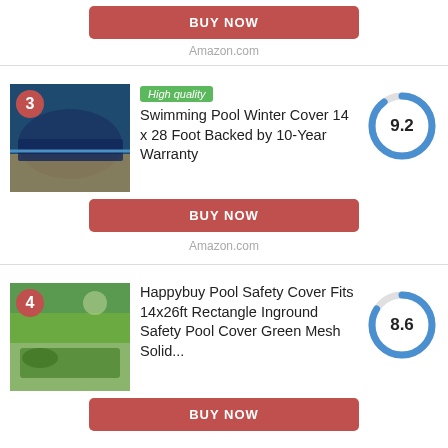[Figure (other): BUY NOW button (red/salmon) for item above, with Amazon.com text below]
Amazon.com
[Figure (photo): Product #3: Swimming pool with dark blue winter cover, numbered badge 3, High quality green badge, score dial 9.2]
Swimming Pool Winter Cover 14 x 28 Foot Backed by 10-Year Warranty
[Figure (donut-chart): Score]
[Figure (other): BUY NOW button (red/salmon) for item 3]
Amazon.com
[Figure (photo): Product #4: Pool safety cover green mesh on inground pool, numbered badge 4, score dial 8.6]
Happybuy Pool Safety Cover Fits 14x26ft Rectangle Inground Safety Pool Cover Green Mesh Solid...
[Figure (donut-chart): Score]
[Figure (other): BUY NOW button (red/salmon) for item 4]